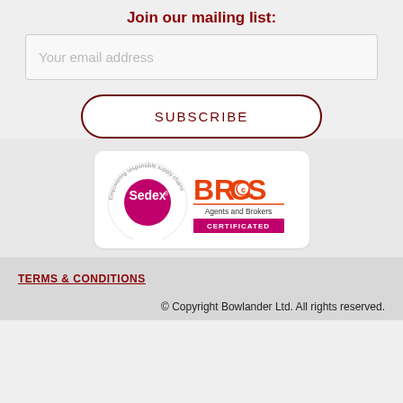Join our mailing list:
Your email address
SUBSCRIBE
[Figure (logo): Sedex 'Empowering responsible supply chains' circular logo and BRCGS Agents and Brokers Certificated logo side by side in a white rounded rectangle]
TERMS & CONDITIONS
© Copyright Bowlander Ltd. All rights reserved.